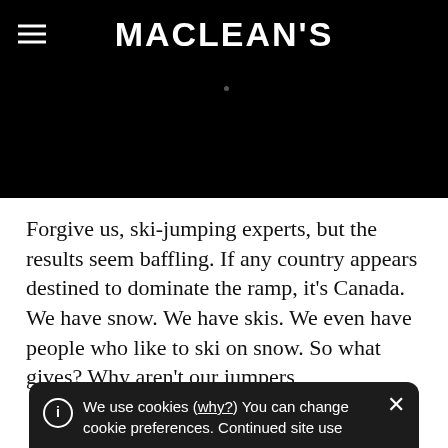MACLEAN'S
[Figure (photo): Dark/black hero image area with a small dot near the top center]
Forgive us, ski-jumping experts, but the results seem baffling. If any country appears destined to dominate the ramp, it’s Canada. We have snow. We have skis. We even have people who like to ski on snow. So what gives? Why aren’t our jumpers
We use cookies (why?) You can change cookie preferences. Continued site use